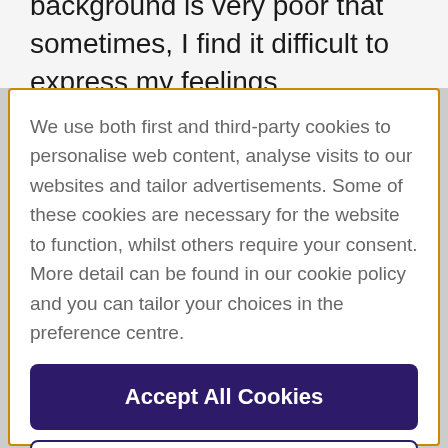background is very poor that sometimes, I find it difficult to express my feelings
We use both first and third-party cookies to personalise web content, analyse visits to our websites and tailor advertisements. Some of these cookies are necessary for the website to function, whilst others require your consent. More detail can be found in our cookie policy and you can tailor your choices in the preference centre.
Accept All Cookies
Cookies Settings